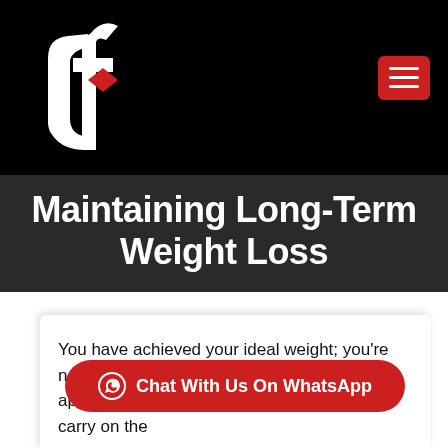[Figure (logo): White stylized 'df' logo with red accent diamond shape on black background]
Maintaining Long-Term Weight Loss
You have achieved your ideal weight; you’re now happy and satisfied with your physical appearance. Basically, the next phase is to carry on the
[Figure (other): Red oval Chat With Us On WhatsApp button with WhatsApp icon]